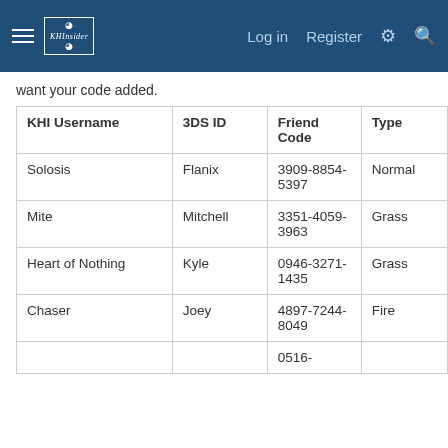Log in   Register
want your code added.
| KHI Username | 3DS ID | Friend Code | Type | PKMN 1 | PKMN 2 | P... |
| --- | --- | --- | --- | --- | --- | --- |
| Solosis | Flanix | 3909-8854-5397 | Normal | Minccino | Lillipup | D |
| Mite | Mitchell | 3351-4059-3963 | Grass | Oddish | Ivysaur | C |
| Heart of Nothing | Kyle | 0946-3271-1435 | Grass | Pansage | Petilil | C |
| Chaser | Joey | 4897-7244-8049 | Fire | Pansear | Charmeleon | E |
|  |  | 0516- |  |  |  |  |